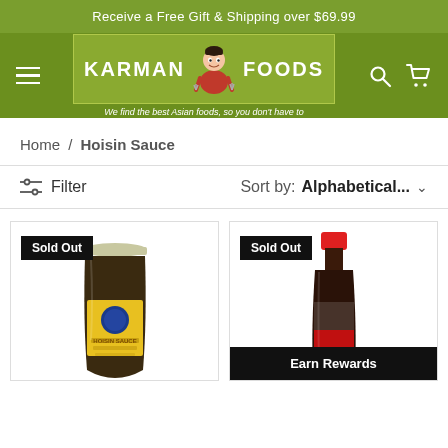Receive a Free Gift & Shipping over $69.99
[Figure (logo): Karman Foods logo with mascot character and tagline 'We find the best Asian foods, so you don't have to']
Home / Hoisin Sauce
Filter   Sort by: Alphabetical...
[Figure (photo): Jar of Hoisin Sauce with yellow label, 'Sold Out' badge]
[Figure (photo): Bottle of hoisin sauce with red cap, 'Sold Out' badge, 'Earn Rewards' banner at bottom]